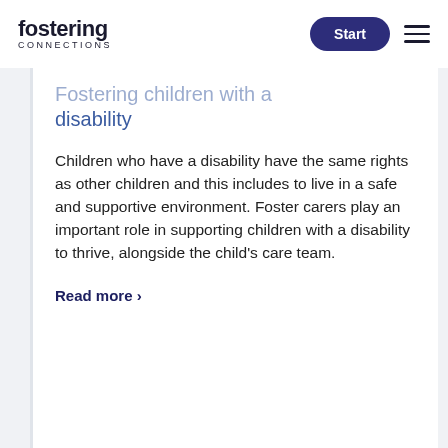fostering CONNECTIONS | Start
Fostering children with a disability
Children who have a disability have the same rights as other children and this includes to live in a safe and supportive environment. Foster carers play an important role in supporting children with a disability to thrive, alongside the child's care team.
Read more >